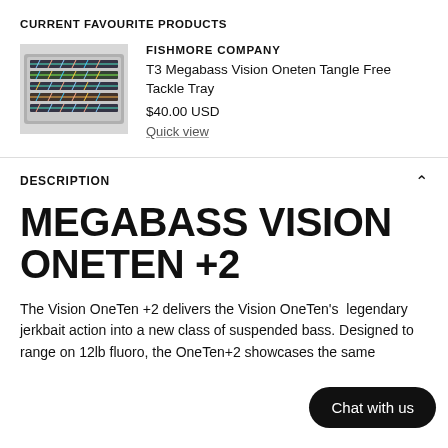CURRENT FAVOURITE PRODUCTS
[Figure (photo): Tackle tray with fishing lures arranged in rows]
FISHMORE COMPANY
T3 Megabass Vision Oneten Tangle Free Tackle Tray
$40.00 USD
Quick view
DESCRIPTION
MEGABASS VISION ONETEN +2
The Vision OneTen +2 delivers the Vision OneTen's legendary jerkbait action into a new class of suspended bass. Designed to range on 12lb fluoro, the OneTen+2 showcases the same